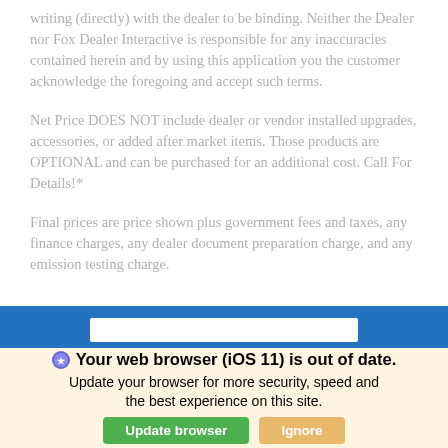writing (directly) with the dealer to be binding. Neither the Dealer nor Fox Dealer Interactive is responsible for any inaccuracies contained herein and by using this application you the customer acknowledge the foregoing and accept such terms.
Net Price DOES NOT include dealer or vendor installed upgrades, accessories, or added after market items. Those products are OPTIONAL and can be purchased for an additional cost. Call For Details!*
Final prices are price shown plus government fees and taxes, any finance charges, any dealer document preparation charge, and any emission testing charge.
[Figure (screenshot): Blue banner bar with a white input box overlay]
Your web browser (iOS 11) is out of date. Update your browser for more security, speed and the best experience on this site. [Update browser] [Ignore]